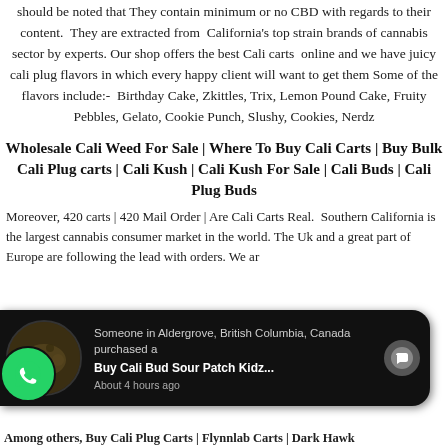should be noted that They contain minimum or no CBD with regards to their content. They are extracted from California's top strain brands of cannabis sector by experts. Our shop offers the best Cali carts online and we have juicy cali plug flavors in which every happy client will want to get them Some of the flavors include:- Birthday Cake, Zkittles, Trix, Lemon Pound Cake, Fruity Pebbles, Gelato, Cookie Punch, Slushy, Cookies, Nerdz
Wholesale Cali Weed For Sale | Where To Buy Cali Carts | Buy Bulk Cali Plug carts | Cali Kush | Cali Kush For Sale | Cali Buds | Cali Plug Buds
Moreover, 420 carts | 420 Mail Order | Are Cali Carts Real. Southern California is the largest cannabis consumer market in the world. The Uk and a great part of Europe are following the lead with orders. We ar...
[Figure (screenshot): WhatsApp-style popup notification showing someone in Aldergrove, British Columbia, Canada purchased a 'Buy Cali Bud Sour Patch Kidz...' about 4 hours ago, with a product image thumbnail and WhatsApp icon.]
Among others, Buy Cali Plug Carts | Flynnlab Carts | Dark Hawk